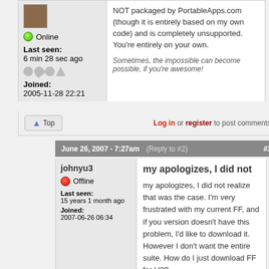NOT packaged by PortableApps.com (though it is entirely based on my own code) and is completely unsupported. You're entirely on your own.
Sometimes, the impossible can become possible, if you're awesome!
Online
Last seen: 6 min 28 sec ago
Joined: 2005-11-28 22:21
Log in or register to post comments
June 26, 2007 - 7:27am (Reply to #2) #3
johnyu3
Offline
Last seen: 15 years 1 month ago
Joined: 2007-06-26 06:34
my apologizes, I did not
my apologizes, I did not realize that was the case. I'm very frustrated with my current FF, and if you version doesn't have this problem, I'd like to download it. However I don't want the entire suite. How do I just download FF for U3?